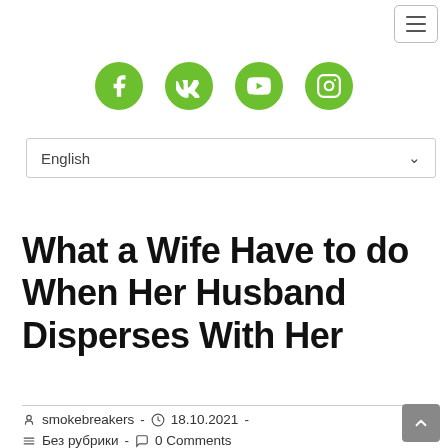hamburger menu button
[Figure (other): Social media icons: Facebook, VKontakte, YouTube, Instagram — green circles with white icons]
English (language selector dropdown)
What a Wife Have to do When Her Husband Disperses With Her
smokebreakers - 18.10.2021 - Без рубрики - 0 Comments